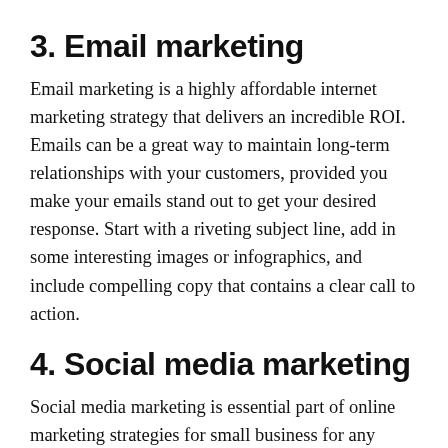3. Email marketing
Email marketing is a highly affordable internet marketing strategy that delivers an incredible ROI. Emails can be a great way to maintain long-term relationships with your customers, provided you make your emails stand out to get your desired response. Start with a riveting subject line, add in some interesting images or infographics, and include compelling copy that contains a clear call to action.
4. Social media marketing
Social media marketing is essential part of online marketing strategies for small business for any company trying to market on a tight budget, because it helps you build a relationship with customers through an investment primarily of time rather than cash